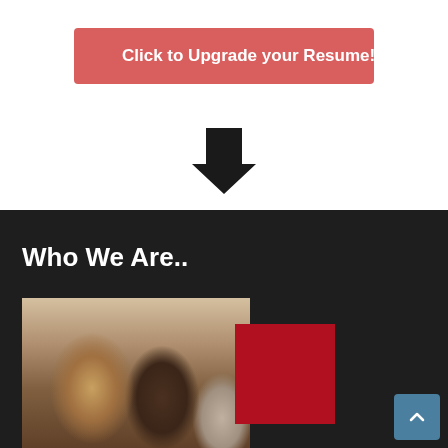Click to Upgrade your Resume!
[Figure (illustration): A large downward-pointing black arrow indicating direction downward]
Who We Are..
[Figure (photo): A photograph of a crowd of people seen from behind, with long hair visible, overlaid with a red rectangle and a dark background. A blue scroll-to-top button is in the bottom-right corner.]